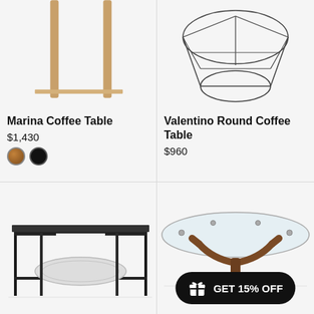[Figure (photo): Marina Coffee Table product image — partial view of wooden legs at top]
Marina Coffee Table
$1,430
[Figure (photo): Valentino Round Coffee Table — geometric wire frame round coffee table]
Valentino Round Coffee Table
$960
[Figure (photo): Black metal coffee table with oval marble lower shelf and rectangular dark top]
[Figure (photo): Glass top coffee table with walnut wood base, with GET 15% OFF promo badge overlay]